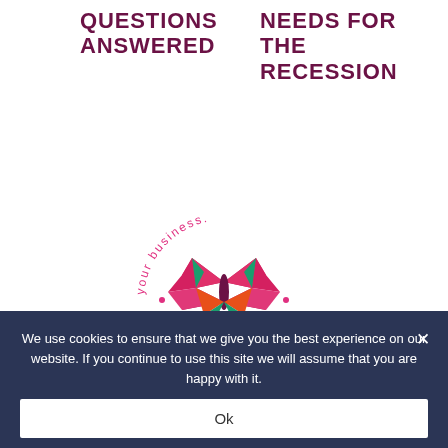QUESTIONS ANSWERED
NEEDS FOR THE RECESSION
[Figure (logo): Circular logo with a geometric butterfly in magenta, orange, green and purple colors, surrounded by curved text reading 'your business. transformed']
We use cookies to ensure that we give you the best experience on our website. If you continue to use this site we will assume that you are happy with it.
Ok